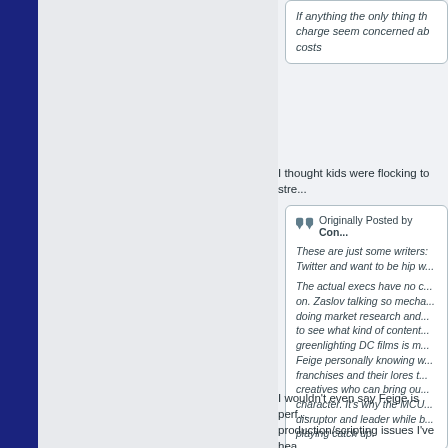If anything the only thing the charge seem concerned ab... costs
I thought kids were flocking to stre...
Originally Posted by Con...
These are just some writers... Twitter and want to be hip w...
The actual execs have no c... on. Zaslov talking so mecha... doing market research and... to see what kind of content... greenlighting DC films is m... Feige personally knowing w... franchises and their lores t... creatives who can bring ou... character. It's why the MCU... disruptor and leader while b... playing catch up.
I wouldn't even say Feige is perf... production/scripting issues I've hea... Thor got basically turned into Hero...